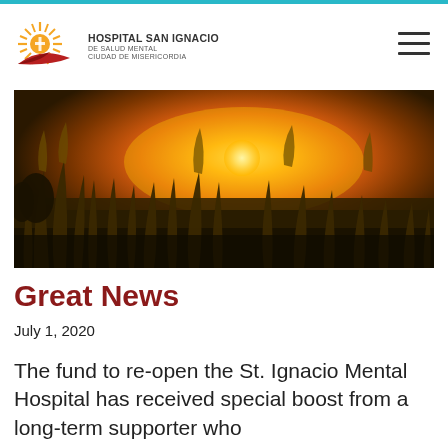HOSPITAL SAN IGNACIO DE SALUD MENTAL CIUDAD DE MISERICORDIA
[Figure (photo): Sunset over a field of tall grass and wheat stalks, warm golden-orange sky with sun visible through the plants]
Great News
July 1, 2020
The fund to re-open the St. Ignacio Mental Hospital has received special boost from a long-term supporter who